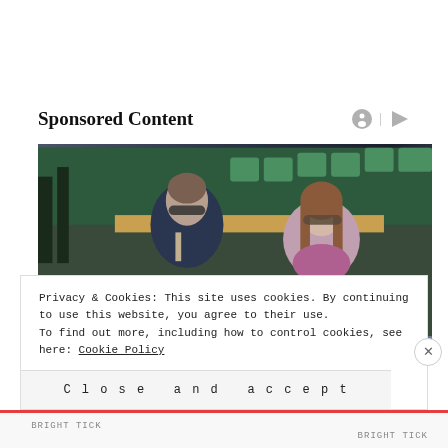Sponsored Content
[Figure (photo): Two people wearing sunglasses seated at what appears to be a sports event (Wimbledon), a man in a dark suit with a tie in profile and a woman with long brown hair facing forward]
Privacy & Cookies: This site uses cookies. By continuing to use this website, you agree to their use.
To find out more, including how to control cookies, see here: Cookie Policy
Close and accept